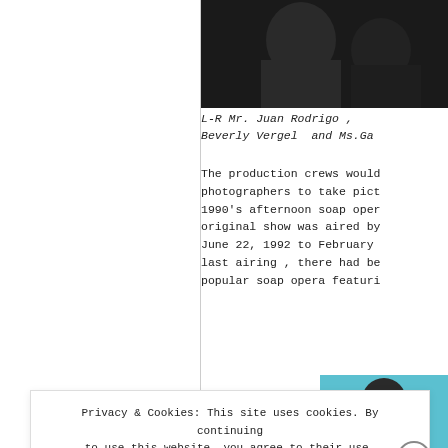[Figure (photo): Dark/black photo at top right, partial view of people]
L-R Mr. Juan Rodrigo , Beverly Vergel  and Ms.Ga
The production crews would photographers to take pict 1990's afternoon soap oper original show was aired by June 22, 1992 to February last airing , there had be popular soap opera featuri
[Figure (photo): Partial photo of a person with teal/blue background]
Privacy & Cookies: This site uses cookies. By continuing to use this website, you agree to their use. To find out more, including how to control cookies, see here: Cookie Policy
Close and accept